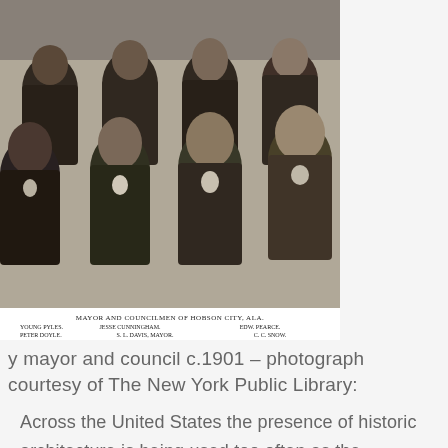[Figure (photo): Black and white historical photograph of Mayor and Councilmen of Hobson City, Alabama circa 1901. Group portrait of African American men in formal attire. Caption text below reads: MAYOR AND COUNCILMEN OF HOBSON CITY, ALA. / YOUNG PYLES, JESSE CUNNINGHAM, EDW. PEARCE / PETER DOYLE, S. L. DAVIS, MAYOR, C. C. SNOW.]
y mayor and council c.1901 – photograph courtesy of The New York Public Library:
Across the United States the presence of historic architecture is being used too often as the singular measure of the importance of a settlement or town.  Some argue that a limited number, or absence, of styled buildings in a settlement or town indicates that there is not much important value or substance in the civic and cultural life of the